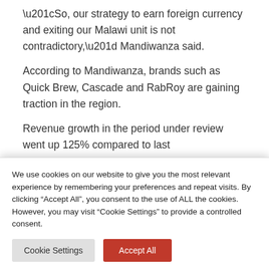“So, our strategy to earn foreign currency and exiting our Malawi unit is not contradictory,” Mandiwanza said.
According to Mandiwanza, brands such as Quick Brew, Cascade and RabRoy are gaining traction in the region.
Revenue growth in the period under review went up 125% compared to last
We use cookies on our website to give you the most relevant experience by remembering your preferences and repeat visits. By clicking “Accept All”, you consent to the use of ALL the cookies. However, you may visit “Cookie Settings” to provide a controlled consent.